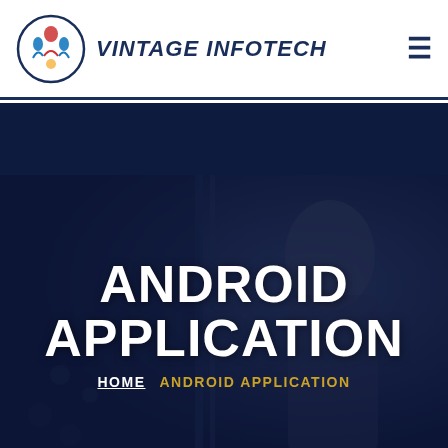VINTAGE INFOTECH
[Figure (screenshot): Hero banner with dark navy overlay over a photo of a businesswoman looking down at something. Large text reads ANDROID APPLICATION with HOME / ANDROID APPLICATION breadcrumb below.]
ANDROID APPLICATION
HOME  ANDROID APPLICATION